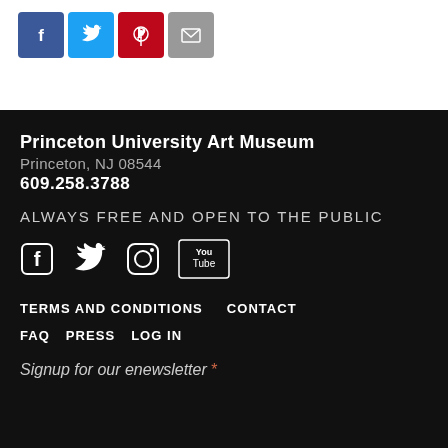[Figure (other): Social share icons row: Facebook (blue), Twitter (light blue), Pinterest (red), Email (gray)]
Princeton University Art Museum
Princeton, NJ 08544
609.258.3788
ALWAYS FREE AND OPEN TO THE PUBLIC
[Figure (other): Social media icons row: Facebook, Twitter, Instagram, YouTube (white icons on black background)]
TERMS AND CONDITIONS   CONTACT
FAQ   PRESS   LOG IN
Signup for our enewsletter *